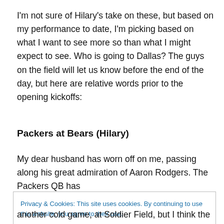I'm not sure of Hilary's take on these, but based on my performance to date, I'm picking based on what I want to see more so than what I might expect to see. Who is going to Dallas? The guys on the field will let us know before the end of the day, but here are relative words prior to the opening kickoffs:
Packers at Bears (Hilary)
My dear husband has worn off on me, passing along his great admiration of Aaron Rodgers. The Packers QB has
Privacy & Cookies: This site uses cookies. By continuing to use this website, you agree to their use.
To find out more, including how to control cookies, see here: Cookie Policy
another cold game, at Soldier Field, but I think the Pack is